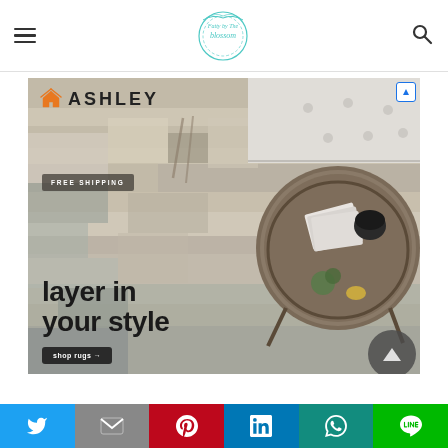Menu | [site logo: Fatty by the Blossom] | Search
[Figure (photo): Ashley Furniture advertisement banner showing rugs with text 'FREE SHIPPING', 'layer in your style', 'shop rugs →'. Features an orange house logo, a patterned area rug, a round wooden coffee table with books and a mug, and a grey sofa corner.]
[Figure (other): Social sharing bar with Twitter (blue), Gmail (grey), Pinterest (red), LinkedIn (blue), WhatsApp (teal), Line (green) buttons.]